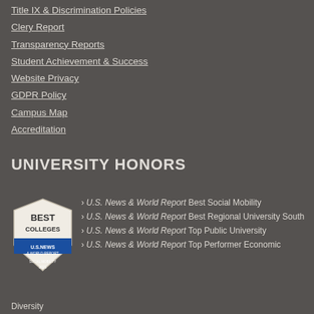Title IX & Discrimination Policies
Clery Report
Transparency Reports
Student Achievement & Success
Website Privacy
GDPR Policy
Campus Map
Accreditation
UNIVERSITY HONORS
[Figure (logo): U.S. News & World Report Best Colleges Social Mobility 2021 badge]
› U.S. News & World Report Best Social Mobility
› U.S. News & World Report Best Regional University South
› U.S. News & World Report Top Public University
› U.S. News & World Report Top Performer Economic Diversity